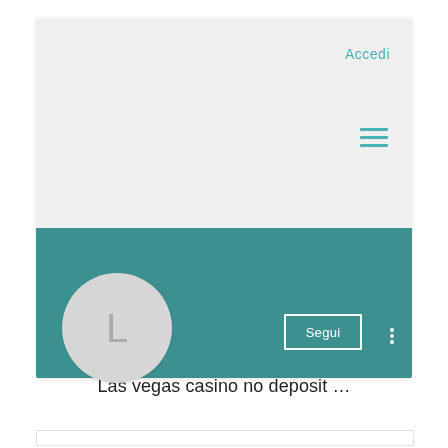[Figure (screenshot): Mobile app screenshot showing a light gray top area with 'Accedi' link in teal and a teal hamburger menu icon, a teal bottom header bar with a white-bordered 'Segui' button and three-dot menu, and a circular gray avatar with letter 'L' overlapping the bottom edge.]
Las vegas casino no deposit …